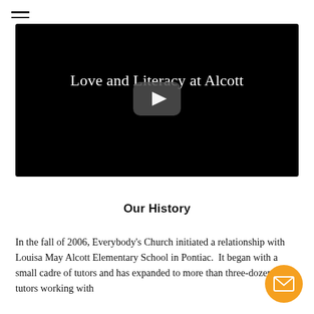[Figure (screenshot): Video thumbnail with black background showing title 'Love and Literacy at Alcott' with a YouTube-style play button in the center]
Our History
In the fall of 2006, Everybody's Church initiated a relationship with Louisa May Alcott Elementary School in Pontiac.  It began with a small cadre of tutors and has expanded to more than three-dozen tutors working with